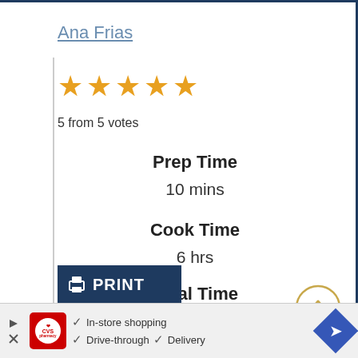Ana Frias
[Figure (infographic): Five gold stars rating display]
5 from 5 votes
Prep Time
10 mins
Cook Time
6 hrs
Total Time
6 hrs 10 mins
[Figure (infographic): Scroll-up chevron button, gold circle border]
[Figure (screenshot): Navy blue PRINT button with printer icon]
[Figure (infographic): CVS pharmacy advertisement banner with checkmarks for In-store shopping, Drive-through, Delivery and blue navigation arrow button]